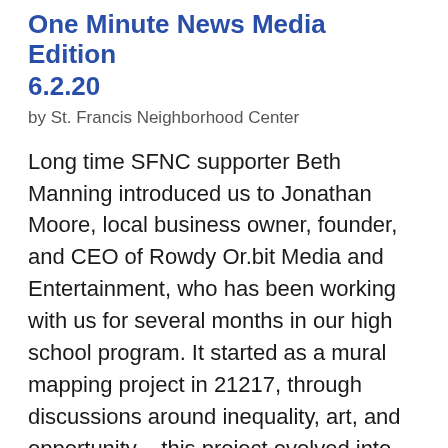One Minute News Media Edition 6.2.20
by St. Francis Neighborhood Center
Long time SFNC supporter Beth Manning introduced us to Jonathan Moore, local business owner, founder, and CEO of Rowdy Or.bit Media and Entertainment, who has been working with us for several months in our high school program. It started as a mural mapping project in 21217, through discussions around inequality, art, and opportunity – this project evolved into our youth